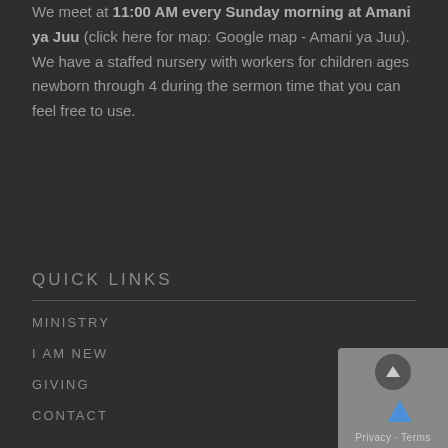We meet at 11:00 AM every Sunday morning at Amani ya Juu (click here for map: Google map - Amani ya Juu). We have a staffed nursery with workers for children ages newborn through 4 during the sermon time that you can feel free to use.
QUICK LINKS
MINISTRY
I AM NEW
GIVING
CONTACT
[Figure (other): reCAPTCHA badge widget with up arrow icon, reCAPTCHA logo, and Privacy - Terms text]